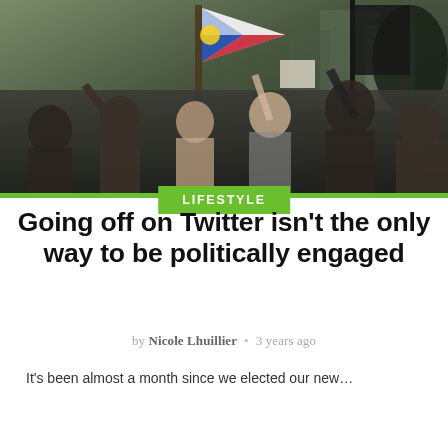[Figure (photo): Outdoor protest scene with people waving flags including a Philippine flag, crowd in background, dark/muted tones]
LIFESTYLE
Going off on Twitter isn't the only way to be politically engaged
by Nicole Lhuillier • 3 years ago
It's been almost a month since we elected our new...